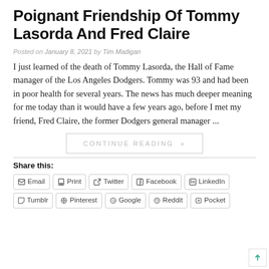Poignant Friendship Of Tommy Lasorda And Fred Claire
Posted on January 8, 2021 by Tim Madigan
I just learned of the death of Tommy Lasorda, the Hall of Fame manager of the Los Angeles Dodgers. Tommy was 93 and had been in poor health for several years. The news has much deeper meaning for me today than it would have a few years ago, before I met my friend, Fred Claire, the former Dodgers general manager ...
CONTINUE READING »
Share this:
Email | Print | Twitter | Facebook | LinkedIn | Tumblr | Pinterest | Google | Reddit | Pocket